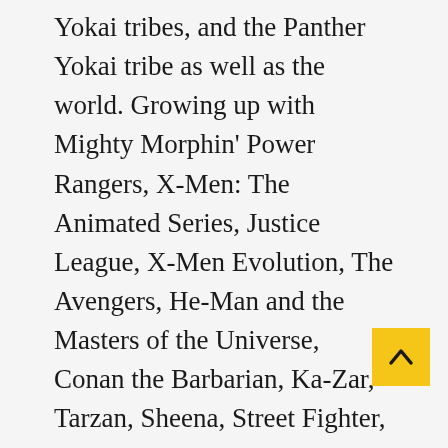Yokai tribes, and the Panther Yokai tribe as well as the world. Growing up with Mighty Morphin' Power Rangers, X-Men: The Animated Series, Justice League, X-Men Evolution, The Avengers, He-Man and the Masters of the Universe, Conan the Barbarian, Ka-Zar, Tarzan, Sheena, Street Fighter, Tekken, and a whole bunch of superhero shows and comics plus fighting games with the characters using their fists, feet, and whole bodies as weapons I could barely name off the top of my head, I always saw The Splendid Seven as a strong team of Yokai who use their own bodies as indestructible weapons and incorporate